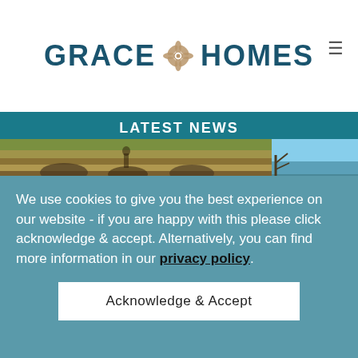[Figure (logo): Grace Homes logo with decorative floral icon between the words GRACE and HOMES, in teal/dark blue color]
LATEST NEWS
[Figure (photo): Landscape photo strip showing outdoor ground scene on the left and blue sky scene on the right]
We use cookies to give you the best experience on our website - if you are happy with this please click acknowledge & accept. Alternatively, you can find more information in our privacy policy.
Acknowledge & Accept